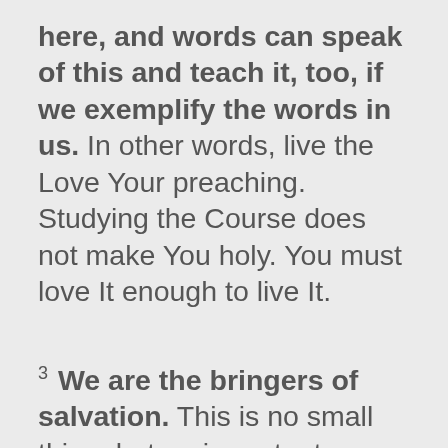here, and words can speak of this and teach it, too, if we exemplify the words in us. In other words, live the Love Your preaching. Studying the Course does not make You holy. You must love It enough to live It.
3 We are the bringers of salvation. This is no small thing, but an important mission for the world, the world of Dreamers. We accept our part as saviors of the world, which